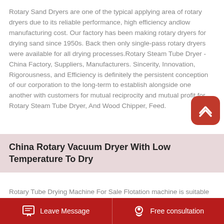Rotary Sand Dryers are one of the typical applying area of rotary dryers due to its reliable performance, high efficiency andlow manufacturing cost. Our factory has been making rotary dryers for drying sand since 1950s. Back then only single-pass rotary dryers were available for all drying processes.Rotary Steam Tube Dryer - China Factory, Suppliers, Manufacturers. Sincerity, Innovation, Rigorousness, and Efficiency is definitely the persistent conception of our corporation to the long-term to establish alongside one another with customers for mutual reciprocity and mutual profit for Rotary Steam Tube Dryer, And Wood Chipper, Feed.
China Rotary Vacuum Dryer With Low Temperature To Dry
Rotary Tube Drying Machine For Sale Flotation machine is suitable for ferrous, nonferrous metals / rotary tube drying